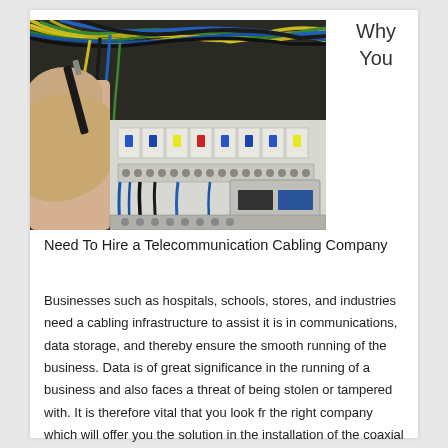[Figure (photo): Close-up photo of an electrical/telecommunications distribution panel with colorful wires (yellow, green, blue, black) being worked on by a hand holding a screwdriver or tool, with circuit breakers and white terminal blocks visible.]
Why You Need To Hire a Telecommunication Cabling Company
Businesses such as hospitals, schools, stores, and industries need a cabling infrastructure to assist it is in communications, data storage, and thereby ensure the smooth running of the business. Data is of great significance in the running of a business and also faces a threat of being stolen or tampered with. It is therefore vital that you look fr the right company which will offer you the solution in the installation of the coaxial cables. The best company will assist you in the installation of this facility